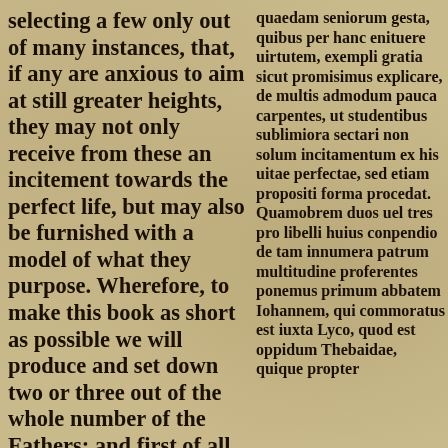selecting a few only out of many instances, that, if any are anxious to aim at still greater heights, they may not only receive from these an incitement towards the perfect life, but may also be furnished with a model of what they purpose. Wherefore, to make this book as short as possible we will produce and set down two or three out of the whole number of the Fathers; and first of all Abbot John who lived near Lycon (1) which is a town in
quaedam seniorum gesta, quibus per hanc enituere uirtutem, exempli gratia sicut promisimus explicare, de multis admodum pauca carpentes, ut studentibus sublimiora sectari non solum incitamentum ex his uitae perfectae, sed etiam propositi forma procedat. Quamobrem duos uel tres pro libelli huius conpendio de tam innumera patrum multitudine proferentes ponemus primum abbatem Iohannem, qui commoratus est iuxta Lyco, quod est oppidum Thebaidae, quique propter